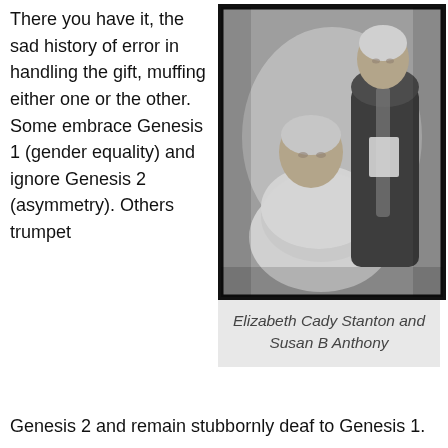There you have it, the sad history of error in handling the gift, muffing either one or the other. Some embrace Genesis 1 (gender equality) and ignore Genesis 2 (asymmetry). Others trumpet Genesis 2 and remain stubbornly deaf to Genesis 1.
[Figure (photo): Black and white photograph of two women: Elizabeth Cady Stanton (seated) and Susan B Anthony (standing), both in Victorian-era dress, with Anthony holding papers.]
Elizabeth Cady Stanton and Susan B Anthony